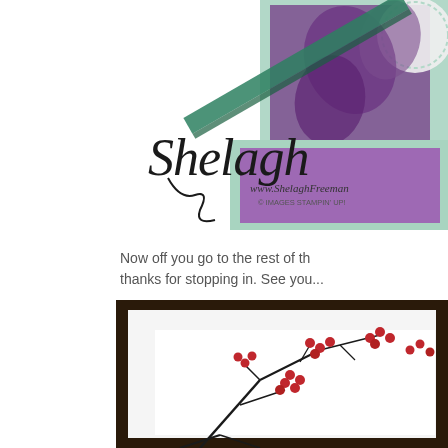[Figure (photo): Partial view of stamped greeting cards with purple floral stamps on mint green and purple cardstock, with ribbon, and a script signature watermark reading 'Shelagh' with 'www.ShelaghFreeman' and '© Images Stampin' Up!']
Now off you go to the rest of the hop, thanks for stopping in. See you...
[Figure (photo): Partial view of a dark-framed picture containing botanical red berry branch illustrations on white background]